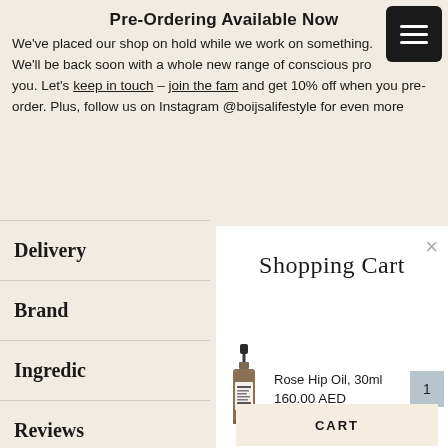Pre-Ordering Available Now
We've placed our shop on hold while we work on something. We'll be back soon with a whole new range of conscious pro you. Let's keep in touch – join the fam and get 10% off when you pre-order. Plus, follow us on Instagram @boijsalifestyle for even more
Delivery
Brand
Ingredic
Reviews
Shopping Cart
[Figure (photo): Small dark glass dropper bottle of Rose Hip Oil 30ml product]
Rose Hip Oil, 30ml
160.00 AED
CART